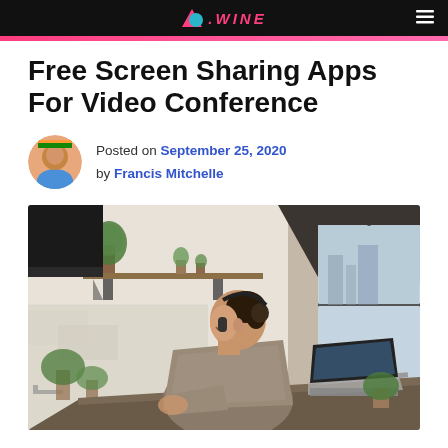.WINE
Free Screen Sharing Apps For Video Conference
Posted on September 25, 2020 by Francis Mitchelle
[Figure (photo): Woman sitting at a kitchen table with a laptop, wearing headphones, smiling, with plants and a large window in the background showing a city view.]